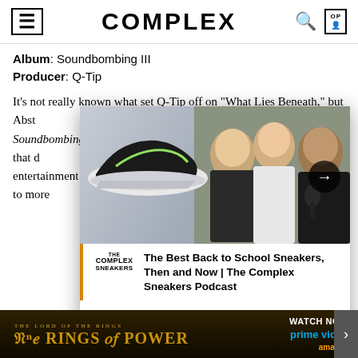COMPLEX
Album: Soundbombing III
Producer: Q-Tip
It's not really known what set Q-Tip off on "What Lies Beneath," but Abst— moods when Shoc— Soundbombing III. straight vitriol tha— insane with that d— joint he pain, that U— clowns the unnam— entertainment for— more Q-Tip/Rawkus collaborations if it resulted to more—
[Figure (screenshot): Complex Sneakers podcast popup overlay showing sneakers and three men sitting at a podcast table, with title 'The Best Back to School Sneakers, Then and Now | The Complex Sneakers Podcast']
[Figure (screenshot): Advertisement banner for The Lord of the Rings: The Rings of Power on Prime Video]